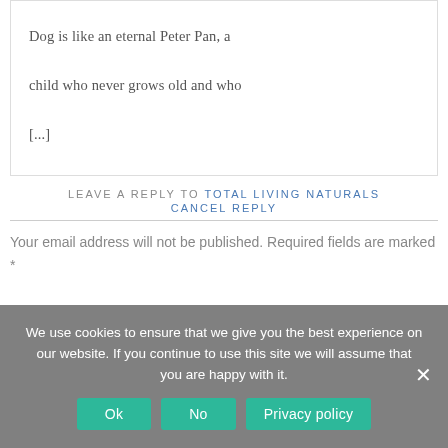Dog is like an eternal Peter Pan, a child who never grows old and who [...]
LEAVE A REPLY TO TOTAL LIVING NATURALS
CANCEL REPLY
Your email address will not be published. Required fields are marked *
We use cookies to ensure that we give you the best experience on our website. If you continue to use this site we will assume that you are happy with it.